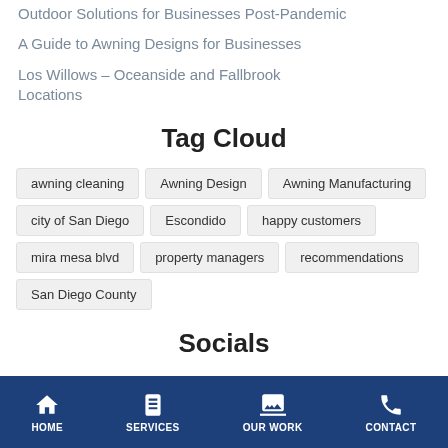Outdoor Solutions for Businesses Post-Pandemic
A Guide to Awning Designs for Businesses
Los Willows – Oceanside and Fallbrook Locations
Tag Cloud
awning cleaning
Awning Design
Awning Manufacturing
city of San Diego
Escondido
happy customers
mira mesa blvd
property managers
recommendations
San Diego County
Socials
HOME  SERVICES  OUR WORK  CONTACT